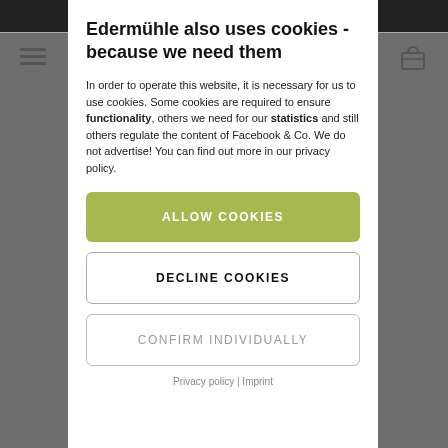Edermühle also uses cookies - because we need them
In order to operate this website, it is necessary for us to use cookies. Some cookies are required to ensure functionality, others we need for our statistics and still others regulate the content of Facebook & Co. We do not advertise! You can find out more in our privacy policy.
ALLOW COOKIES
DECLINE COOKIES
CONFIRM INDIVIDUALLY
Privacy policy | Imprint